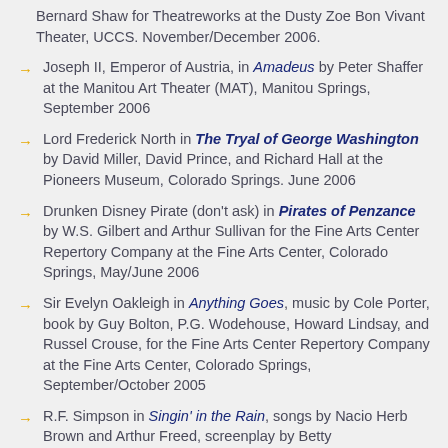Bernard Shaw for Theatreworks at the Dusty Zoe Bon Vivant Theater, UCCS. November/December 2006.
Joseph II, Emperor of Austria, in Amadeus by Peter Shaffer at the Manitou Art Theater (MAT), Manitou Springs, September 2006
Lord Frederick North in The Tryal of George Washington by David Miller, David Prince, and Richard Hall at the Pioneers Museum, Colorado Springs. June 2006
Drunken Disney Pirate (don't ask) in Pirates of Penzance by W.S. Gilbert and Arthur Sullivan for the Fine Arts Center Repertory Company at the Fine Arts Center, Colorado Springs, May/June 2006
Sir Evelyn Oakleigh in Anything Goes, music by Cole Porter, book by Guy Bolton, P.G. Wodehouse, Howard Lindsay, and Russel Crouse, for the Fine Arts Center Repertory Company at the Fine Arts Center, Colorado Springs, September/October 2005
R.F. Simpson in Singin' in the Rain, songs by Nacio Herb Brown and Arthur Freed, screenplay by Betty